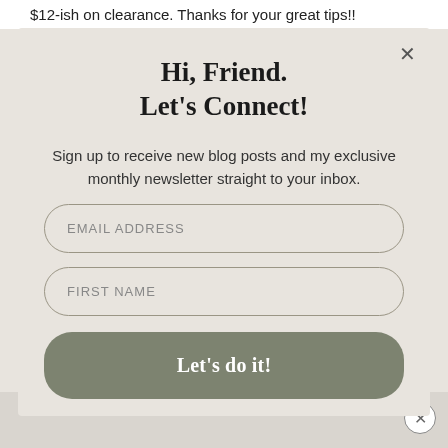$12-ish on clearance. Thanks for your great tips!!
Hi, Friend.
Let's Connect!
Sign up to receive new blog posts and my exclusive monthly newsletter straight to your inbox.
EMAIL ADDRESS
FIRST NAME
Let's do it!